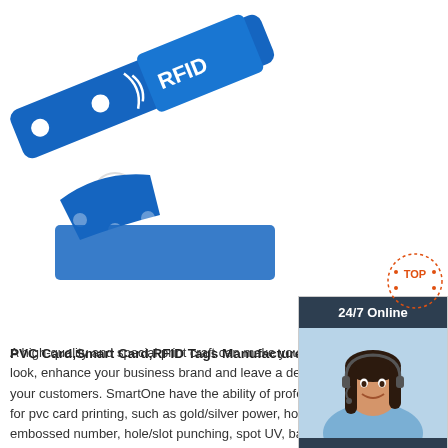[Figure (photo): Blue RFID wristband/bracelet product photo on white background]
[Figure (infographic): 24/7 Online chat widget with woman wearing headset, 'Click here for free chat!' text, and orange QUOTATION button]
[Figure (logo): TOP watermark logo in red/orange with dotted circle]
PVC Card,Smart Card,RFID Tags Manufacturer-Sm
A high-quality and special print craft can make your pvc card a unique look, enhance your business brand and leave a deep first impression on your customers. SmartOne have the ability of professional printing crafts for pvc card printing, such as gold/silver power, hot foil stamping, embossed number, hole/slot punching, spot UV, barcode, metal ...